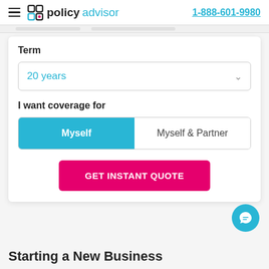policyadvisor  1-888-601-9980
Term
20 years
I want coverage for
Myself  |  Myself & Partner
GET INSTANT QUOTE
Starting a New Business